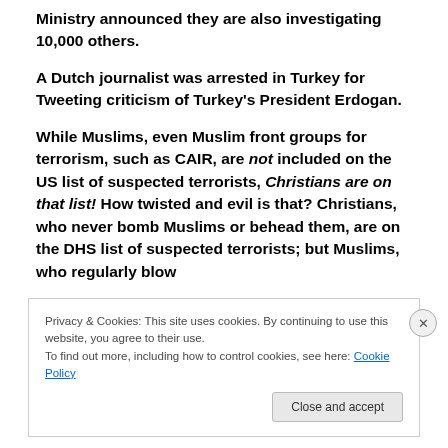Ministry announced they are also investigating 10,000 others.
A Dutch journalist was arrested in Turkey for Tweeting criticism of Turkey's President Erdogan.
While Muslims, even Muslim front groups for terrorism, such as CAIR, are not included on the US list of suspected terrorists, Christians are on that list! How twisted and evil is that? Christians, who never bomb Muslims or behead them, are on the DHS list of suspected terrorists; but Muslims, who regularly blow
Privacy & Cookies: This site uses cookies. By continuing to use this website, you agree to their use.
To find out more, including how to control cookies, see here: Cookie Policy
Close and accept